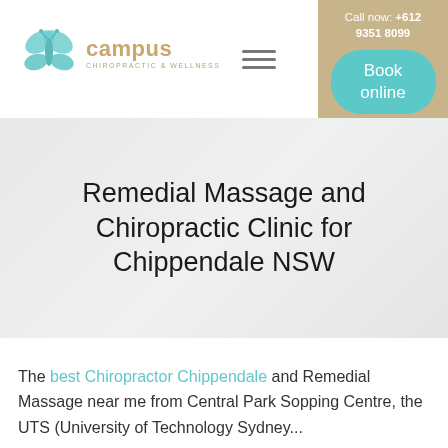[Figure (logo): Campus Chiropractic & Wellness logo with teal butterfly and text]
Call now: +612 9351 8099
Book online
Remedial Massage and Chiropractic Clinic for Chippendale NSW
The best Chiropractor Chippendale and Remedial Massage near me from Central Park Sopping Centre, the UTS (University of Technology Sydney) and TAFE NSW...